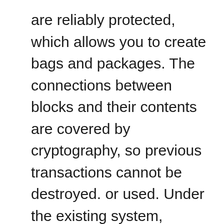are reliably protected, which allows you to create bags and packages. The connections between blocks and their contents are covered by cryptography, so previous transactions cannot be destroyed. or used. Under the existing system, money transfers and shopping times are inconvenient. But we will argue. We have created a system that allows users to easily transfer money and receive money anywhere in the world at a very low price. Other features of this app include instant payments, where users can pay for coffee or dinner using the